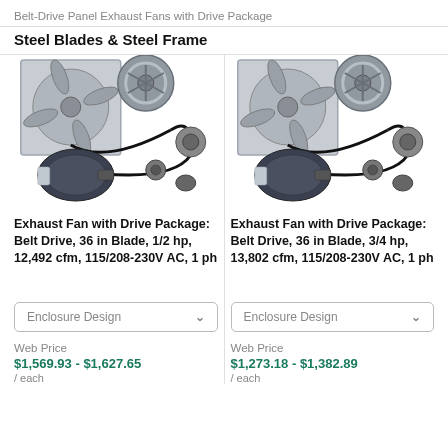Belt-Drive Panel Exhaust Fans with Drive Package
Steel Blades & Steel Frame
[Figure (photo): Product photo of exhaust fan with drive package - belt drive, 36 in blade, 1/2 hp, showing fan panel, pulley wheel, motor, belt, and small pulley]
Exhaust Fan with Drive Package: Belt Drive, 36 in Blade, 1/2 hp, 12,492 cfm, 115/208-230V AC, 1 ph
Enclosure Design
Web Price
$1,569.93 - $1,627.65
/ each
[Figure (photo): Product photo of exhaust fan with drive package - belt drive, 36 in blade, 3/4 hp, showing fan panel, pulley wheel, motor, belt, and small pulley]
Exhaust Fan with Drive Package: Belt Drive, 36 in Blade, 3/4 hp, 13,802 cfm, 115/208-230V AC, 1 ph
Enclosure Design
Web Price
$1,273.18 - $1,382.89
/ each